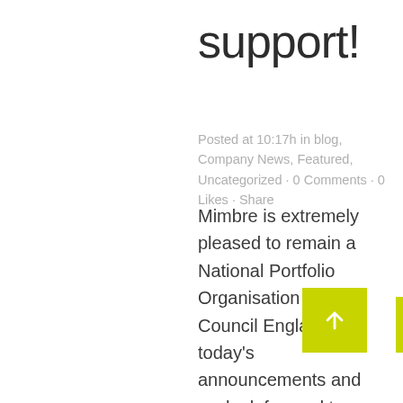support!
Posted at 10:17h in blog, Company News, Featured, Uncategorized · 0 Comments · 0 Likes · Share
Mimbre is extremely pleased to remain a National Portfolio Organisation of Arts Council England in today's announcements and we look forward to maintaining our contribution to the excellence of the arts in England alongside ACE in the coming years. One of our founding beliefs is...
Read More